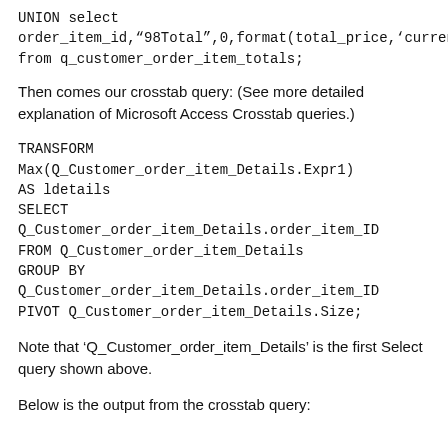UNION select order_item_id,"98Total",0,format(total_price,'currency') from q_customer_order_item_totals;
Then comes our crosstab query: (See more detailed explanation of Microsoft Access Crosstab queries.)
TRANSFORM Max(Q_Customer_order_item_Details.Expr1) AS ldetails
SELECT Q_Customer_order_item_Details.order_item_ID
FROM Q_Customer_order_item_Details
GROUP BY
Q_Customer_order_item_Details.order_item_ID
PIVOT Q_Customer_order_item_Details.Size;
Note that 'Q_Customer_order_item_Details' is the first Select query shown above.
Below is the output from the crosstab query: